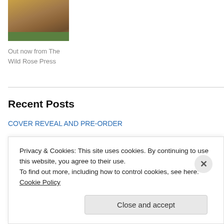[Figure (photo): Photo of horses running, book cover image from The Wild Rose Press]
Out now from The Wild Rose Press
Recent Posts
COVER REVEAL AND PRE-ORDER
Now in Pre-Order!
This Month's Cowboy Kisses Post
(no title)
(no title)
Privacy & Cookies: This site uses cookies. By continuing to use this website, you agree to their use.
To find out more, including how to control cookies, see here: Cookie Policy
Close and accept